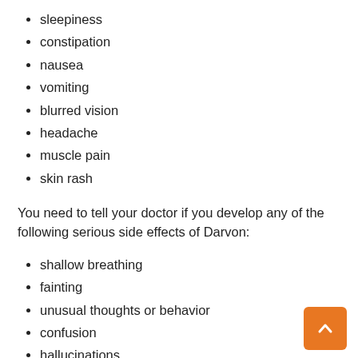sleepiness
constipation
nausea
vomiting
blurred vision
headache
muscle pain
skin rash
You need to tell your doctor if you develop any of the following serious side effects of Darvon:
shallow breathing
fainting
unusual thoughts or behavior
confusion
hallucinations
lightheadedness